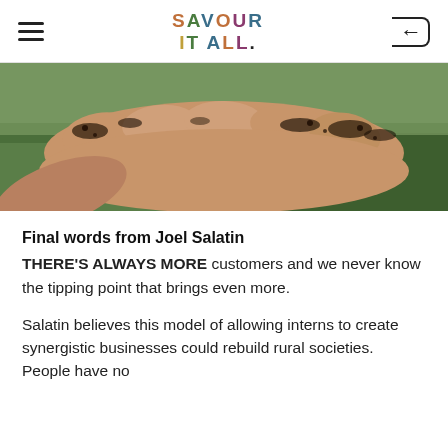SAVOUR IT ALL.
[Figure (photo): Close-up of hands holding dark soil with grass in the background]
Final words from Joel Salatin
THERE'S ALWAYS MORE customers and we never know the tipping point that brings even more.
Salatin believes this model of allowing interns to create synergistic businesses could rebuild rural societies. People have no